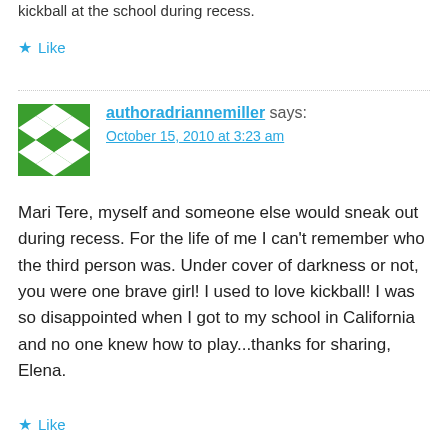kickball at the school during recess.
★ Like
authoradriannemiller says:
October 15, 2010 at 3:23 am
Mari Tere, myself and someone else would sneak out during recess. For the life of me I can't remember who the third person was. Under cover of darkness or not, you were one brave girl! I used to love kickball! I was so disappointed when I got to my school in California and no one knew how to play...thanks for sharing, Elena.
★ Like